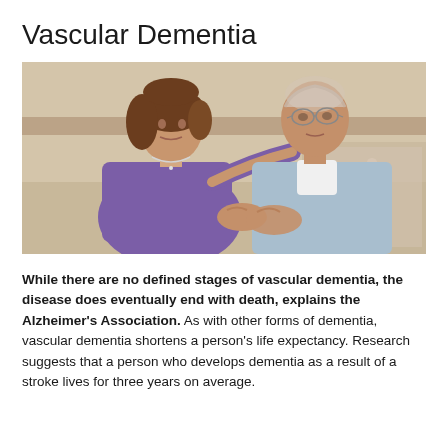Vascular Dementia
[Figure (photo): A middle-aged woman with brown hair wearing a purple top holding the hands of an elderly man with glasses wearing a light blue cardigan, seated together, appearing to be in a caregiving situation.]
While there are no defined stages of vascular dementia, the disease does eventually end with death, explains the Alzheimer's Association. As with other forms of dementia, vascular dementia shortens a person's life expectancy. Research suggests that a person who develops dementia as a result of a stroke lives for three years on average.